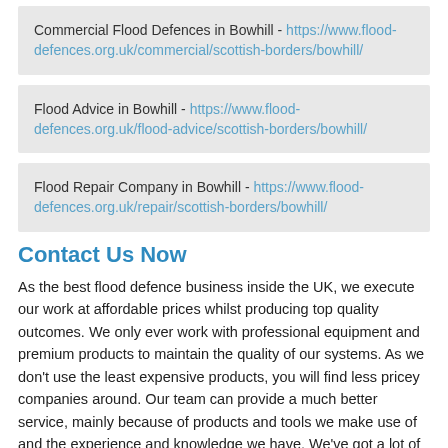Commercial Flood Defences in Bowhill - https://www.flood-defences.org.uk/commercial/scottish-borders/bowhill/
Flood Advice in Bowhill - https://www.flood-defences.org.uk/flood-advice/scottish-borders/bowhill/
Flood Repair Company in Bowhill - https://www.flood-defences.org.uk/repair/scottish-borders/bowhill/
Contact Us Now
As the best flood defence business inside the UK, we execute our work at affordable prices whilst producing top quality outcomes. We only ever work with professional equipment and premium products to maintain the quality of our systems. As we don't use the least expensive products, you will find less pricey companies around. Our team can provide a much better service, mainly because of products and tools we make use of and the experience and knowledge we have. We've got a lot of expert knowledge inside the industry and many years of experience, meaning that you can rest